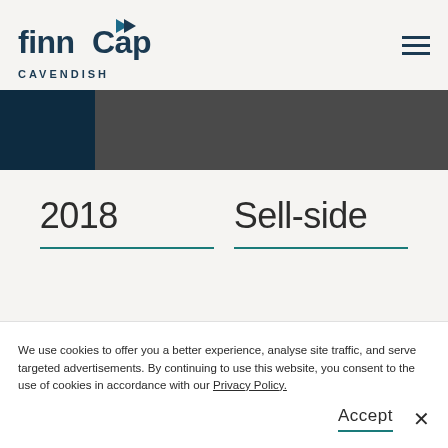finnCap Cavendish — navigation header with hamburger menu
[Figure (other): Decorative banner with dark navy left block and dark grey right block]
2018
Sell-side
We use cookies to offer you a better experience, analyse site traffic, and serve targeted advertisements. By continuing to use this website, you consent to the use of cookies in accordance with our Privacy Policy.
Accept